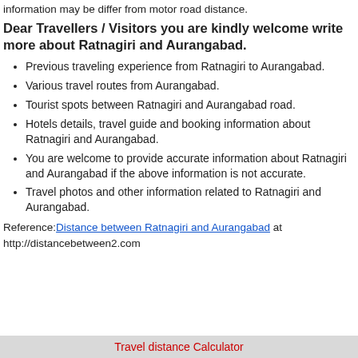information may be differ from motor road distance.
Dear Travellers / Visitors you are kindly welcome write more about Ratnagiri and Aurangabad.
Previous traveling experience from Ratnagiri to Aurangabad.
Various travel routes from Aurangabad.
Tourist spots between Ratnagiri and Aurangabad road.
Hotels details, travel guide and booking information about Ratnagiri and Aurangabad.
You are welcome to provide accurate information about Ratnagiri and Aurangabad if the above information is not accurate.
Travel photos and other information related to Ratnagiri and Aurangabad.
Reference: Distance between Ratnagiri and Aurangabad at http://distancebetween2.com
Travel distance Calculator